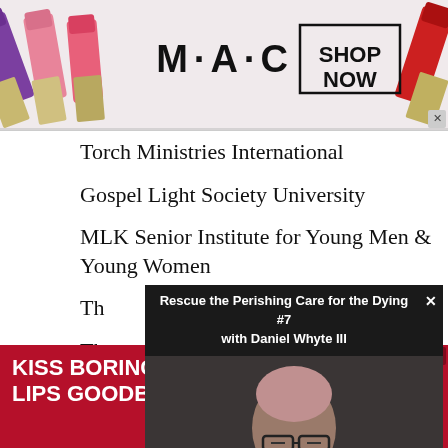[Figure (photo): MAC cosmetics advertisement banner showing colorful lipsticks and MAC logo with SHOP NOW button]
Torch Ministries International
Gospel Light Society University
MLK Senior Institute for Young Men & Young Women
Th... Bla...
Th...
Da...
[Figure (screenshot): Video overlay popup showing 'Rescue the Perishing Care for the Dying #7 with Daniel Whyte III' with a person wearing glasses]
[Figure (photo): Macy's advertisement banner: KISS BORING LIPS GOODBYE with SHOP NOW button and Macy's star logo]